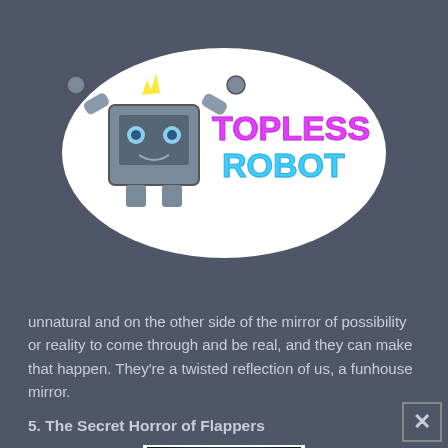[Figure (logo): Topless Robot logo with a robot character and stylized neon text reading TOPLESS ROBOT]
unnatural and on the other side of the mirror of possibility or reality to come through and be real, and they can make that happen. They're a twisted reflection of us, a funhouse mirror.
5. The Secret Horror of Flappers
[Figure (photo): A dark atmospheric image showing what appears to be a creature or horror-themed subject with blue lighting]